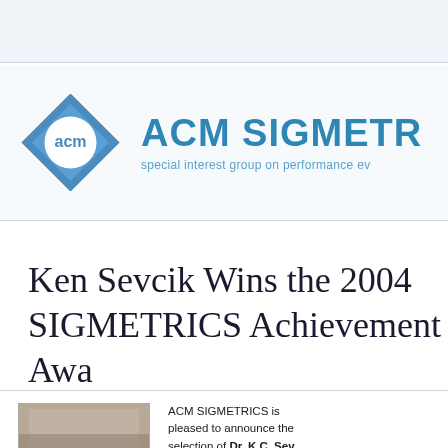[Figure (logo): ACM SIGMETRICS logo: blue diamond shape with 'acm' in a circle, followed by large teal text 'ACM SIGMETRICS' and subtitle 'special interest group on performance evaluation']
Ken Sevcik Wins the 2004 SIGMETRICS Achievement Award
[Figure (photo): Portrait photo of Ken Sevcik]
ACM SIGMETRICS is pleased to announce the selection of Dr. K.C. Sevcik as the recipient of the